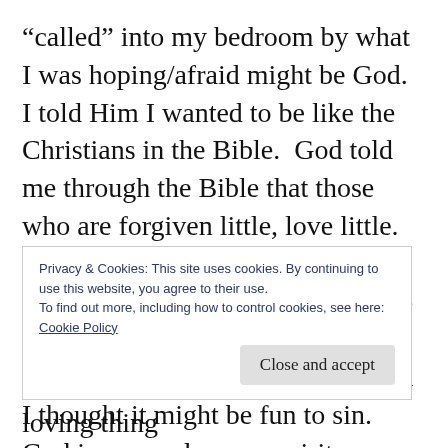“called” into my bedroom by what I was hoping/afraid might be God.  I told Him I wanted to be like the Christians in the Bible.  God told me through the Bible that those who are forgiven little, love little.  But, those who are forgiven much, love much.  I thought I had little to be forgiven of so I told God I wanted to be forgiven of much and I thought it might be fun to sin.  God impressed on my spirit, “You’re a sinner!”  He wasn’t talking about your everyday church-going sinner that we all are
Privacy & Cookies: This site uses cookies. By continuing to use this website, you agree to their use.
To find out more, including how to control cookies, see here:
Cookie Policy
Then God did the kindest, most loving thing